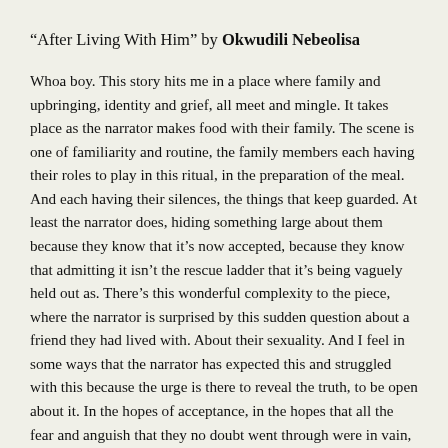“After Living With Him” by Okwudili Nebeolisa
Whoa boy. This story hits me in a place where family and upbringing, identity and grief, all meet and mingle. It takes place as the narrator makes food with their family. The scene is one of familiarity and routine, the family members each having their roles to play in this ritual, in the preparation of the meal. And each having their silences, the things that keep guarded. At least the narrator does, hiding something large about them because they know that it’s now accepted, because they know that admitting it isn’t the rescue ladder that it’s being vaguely held out as. There’s this wonderful complexity to the piece, where the narrator is surprised by this sudden question about a friend they had lived with. About their sexuality. And I feel in some ways that the narrator has expected this and struggled with this because the urge is there to reveal the truth, to be open about it. In the hopes of acceptance, in the hopes that all the fear and anguish that they no doubt went through were in vain, and maybe they were mistaken about what the outcome would be. At the same time, though, they have through about this it seems very much, have weighed and measured. And are dealing with their own griefs, with the death of